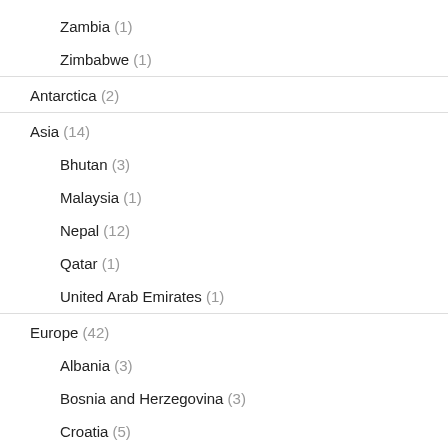Zambia (1)
Zimbabwe (1)
Antarctica (2)
Asia (14)
Bhutan (3)
Malaysia (1)
Nepal (12)
Qatar (1)
United Arab Emirates (1)
Europe (42)
Albania (3)
Bosnia and Herzegovina (3)
Croatia (5)